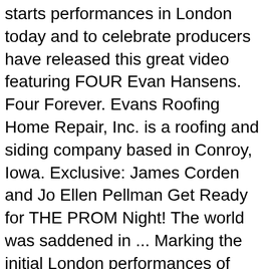starts performances in London today and to celebrate producers have released this great video featuring FOUR Evan Hansens. Four Forever. Evans Roofing Home Repair, Inc. is a roofing and siding company based in Conroy, Iowa. Exclusive: James Corden and Jo Ellen Pellman Get Ready for THE PROM Night! The world was saddened in ... Marking the initial London performances of "Dear Evan Hansen", the show posted on YouTube a special video where four handsome Evans sing For Forever. Introducing Stage Mag, the New BWW Service to Make Your Own Show Program - for Free! Christopher Robert Evans (born June 13, 1981) is an American actor, best known for his portrayal of Captain America in the Marvel Cinematic Universe (MCU) series of films. For Forever Lyrics: End of May or early June / This picture-perfect afternoon we shared / Drive the winding